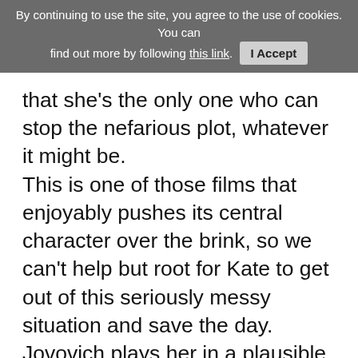By continuing to use the site, you agree to the use of cookies. You can find out more by following this link.  I Accept
that she's the only one who can stop the nefarious plot, whatever it might be. This is one of those films that enjoyably pushes its central character over the brink, so we can't help but root for Kate to get out of this seriously messy situation and save the day. Jovovich plays her in a plausible way as a capable woman who has no choice but to fight back and try to survive, because she's the only one who knows that she's not the real threat here. Everyone else is extremely shadowy, although McDermott gets to show a heroic side, as does the terrific Frances de la Tour as the only embassy staff member who believes that Kate is the good guy. Meanwhile, Brosnan gives a remarkably effective performance as a cold-blooded killer
Continue reading: Survivor Review